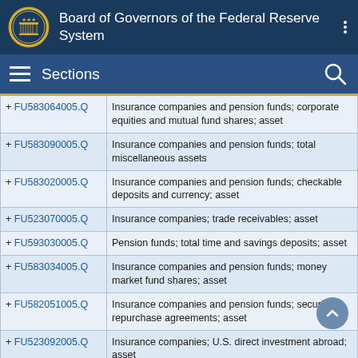Board of Governors of the Federal Reserve System
Sections
| Code | Description |
| --- | --- |
| + FU583064005.Q | Insurance companies and pension funds; corporate equities and mutual fund shares; asset |
| + FU583090005.Q | Insurance companies and pension funds; total miscellaneous assets |
| + FU583020005.Q | Insurance companies and pension funds; checkable deposits and currency; asset |
| + FU523070005.Q | Insurance companies; trade receivables; asset |
| + FU593030005.Q | Pension funds; total time and savings deposits; asset |
| + FU583034005.Q | Insurance companies and pension funds; money market fund shares; asset |
| + FU582051005.Q | Insurance companies and pension funds; security repurchase agreements; asset |
| + FU523092005.Q | Insurance companies; U.S. direct investment abroad; asset |
| + FU543040005.Q | Life insurance companies; life insurance reserve credit |